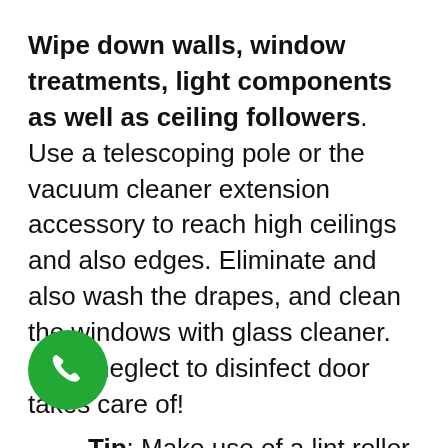Wipe down walls, window treatments, light components as well as ceiling followers. Use a telescoping pole or the vacuum cleaner extension accessory to reach high ceilings and also edges. Eliminate and also wash the drapes, and clean the windows with glass cleaner. Don't neglect to disinfect door takes care of!
Tip: Make use of a lint roller on light tones to remove any dirt or pet hair that have gathered there.
Dirt your design. Delicately wipe or comb away dust from all of your knickknacks, image frameworks as well as clocks. Depending on just
[Figure (other): Green circular phone/call button icon in bottom left area]